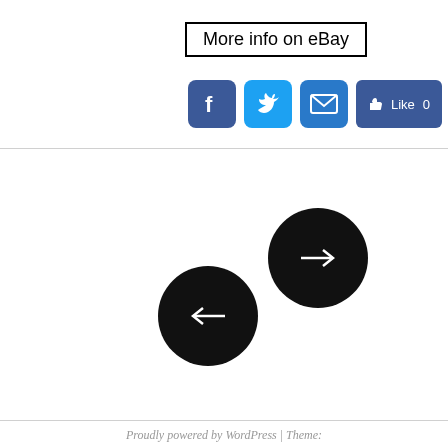More info on eBay
[Figure (screenshot): Social sharing buttons: Facebook, Twitter, Email icons (blue rounded squares), a Facebook Like button showing Like 0, and a blue plus button]
[Figure (other): Two black circular navigation buttons: one with a right arrow (next) and one with a left arrow (previous), overlapping slightly]
Proudly powered by WordPress | Theme: Ryu by WordPress.com.